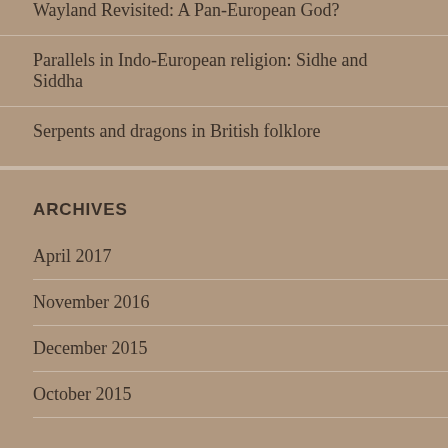Wayland Revisited: A Pan-European God?
Parallels in Indo-European religion: Sidhe and Siddha
Serpents and dragons in British folklore
ARCHIVES
April 2017
November 2016
December 2015
October 2015